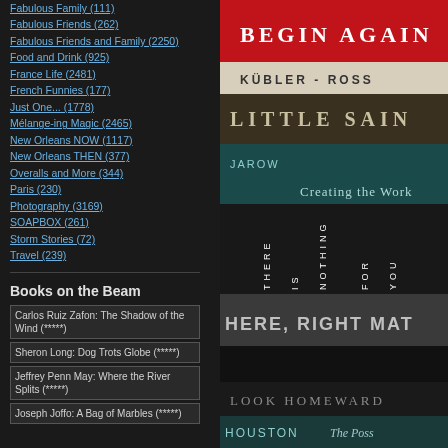Fabulous Family (111)
Fabulous Friends (262)
Fabulous Friends and Family (2250)
Food and Drink (925)
France Life (2481)
French Funnies (177)
Just One... (1778)
Mélange-ing Magic (2465)
New Orleans NOW (1117)
New Orleans THEN (377)
Overalls and More (344)
Paris (230)
Photography (3169)
SOAPBOX (261)
Storm Stories (72)
Travel (239)
Books on the Beam
Carlos Ruiz Zafon: The Shadow of the Wind (*****)
Sheron Long: Dog Trots Globe (*****)
Jeffrey Penn May: Where the River Splits (*****)
Joseph Joffo: A Bag of Marbles (*****)
[Figure (photo): Stack of books photographed from the side showing spines including 'Begin Again', 'Kübler-Ross', 'Little Saints', 'JAROW Creating the Work', 'There is Nothing for You Here, Right Mat...', 'Look Homeward', 'Houston The Poss...']